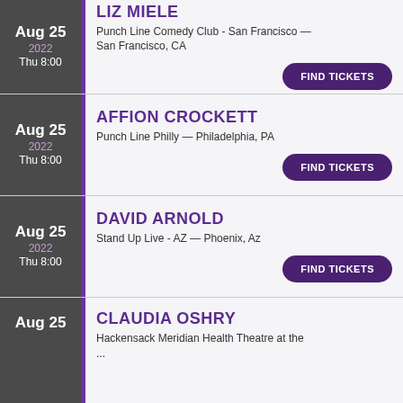LIZ MIELE — Aug 25, 2022, Thu 8:00 — Punch Line Comedy Club - San Francisco — San Francisco, CA — FIND TICKETS
AFFION CROCKETT — Aug 25, 2022, Thu 8:00 — Punch Line Philly — Philadelphia, PA — FIND TICKETS
DAVID ARNOLD — Aug 25, 2022, Thu 8:00 — Stand Up Live - AZ — Phoenix, Az — FIND TICKETS
CLAUDIA OSHRY — Aug 25 — Hackensack Meridian Health Theatre at the...